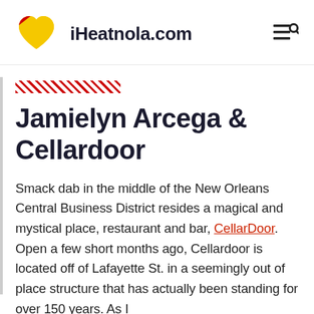iHeatnola.com
[Figure (illustration): Red, yellow, and blue striped heart logo for iHeatnola.com]
[Figure (illustration): Red diagonal hatched/striped decorative bar]
Jamielyn Arcega & Cellardoor
Smack dab in the middle of the New Orleans Central Business District resides a magical and mystical place, restaurant and bar, CellarDoor. Open a few short months ago, Cellardoor is located off of Lafayette St. in a seemingly out of place structure that has actually been standing for over 150 years. As I